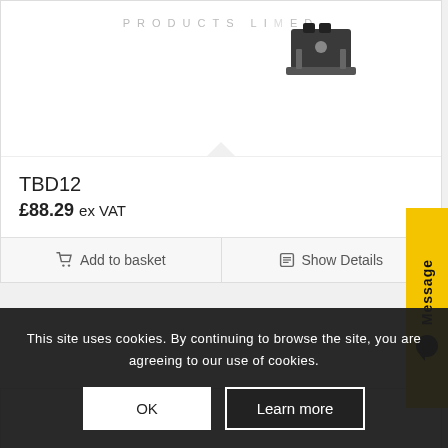[Figure (photo): Top portion of a product listing page showing a mechanical clamp/bracket product (TBD12) with product image, price, and action buttons]
TBD12
£88.29 ex VAT
Add to basket
Show Details
[Figure (photo): Second product card showing a linear actuator/rail product]
Message
This site uses cookies. By continuing to browse the site, you are agreeing to our use of cookies.
OK
Learn more